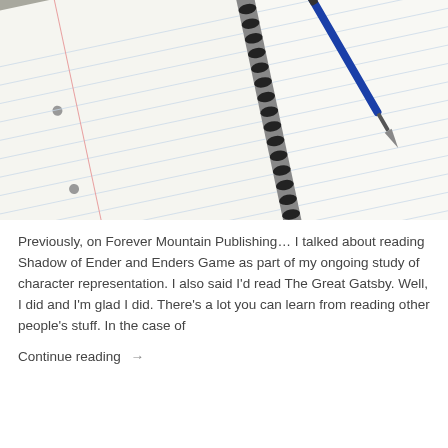[Figure (photo): Photograph of open spiral-bound notebooks with a blue pen resting on the lined pages, placed on a gray surface. Multiple notebooks are stacked, with green and blue covers visible underneath.]
Previously, on Forever Mountain Publishing… I talked about reading Shadow of Ender and Enders Game as part of my ongoing study of character representation. I also said I'd read The Great Gatsby. Well, I did and I'm glad I did. There's a lot you can learn from reading other people's stuff. In the case of
Continue reading →